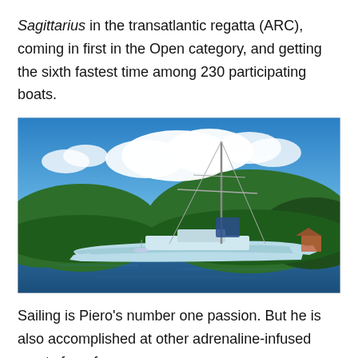Sagittarius in the transatlantic regatta (ARC), coming in first in the Open category, and getting the sixth fastest time among 230 participating boats.
[Figure (photo): A large light-blue catamaran sailing yacht anchored in a tropical bay with green forested hills in the background, blue sky with white clouds, and calm water.]
Sailing is Piero's number one passion. But he is also accomplished at other adrenaline-infused sports from free-